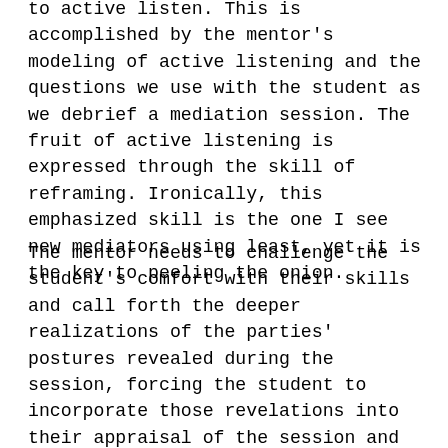to active listen. This is accomplished by the mentor's modeling of active listening and the questions we use with the student as we debrief a mediation session. The fruit of active listening is expressed through the skill of reframing. Ironically, this emphasized skill is the one I see new mediators using least, yet it is the key to peeling the onion.
The mentor needs to challenge the student's comfort with their skills and call forth the deeper realizations of the parties' postures revealed during the session, forcing the student to incorporate those revelations into their appraisal of the session and their performance in the session. When the potential for impasse is experienced, debriefing needs to focus primarily on party postures to understand what was missed or needs further development in the mediation process.